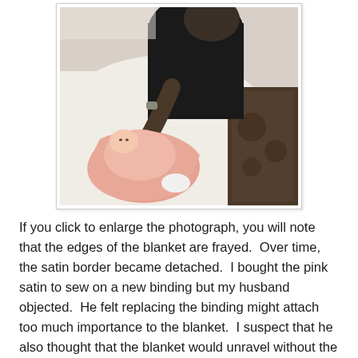[Figure (photo): A person in a black top leaning over a newborn baby wrapped in a pink blanket, lying on a white surface. A patterned rug is visible in the background.]
If you click to enlarge the photograph, you will note that the edges of the blanket are frayed.  Over time, the satin border became detached.  I bought the pink satin to sew on a new binding but my husband objected.  He felt replacing the binding might attach too much importance to the blanket.  I suspect that he also thought that the blanket would unravel without the binding and shrink thread by thread.  But somehow the blanket remained relatively intact despite the